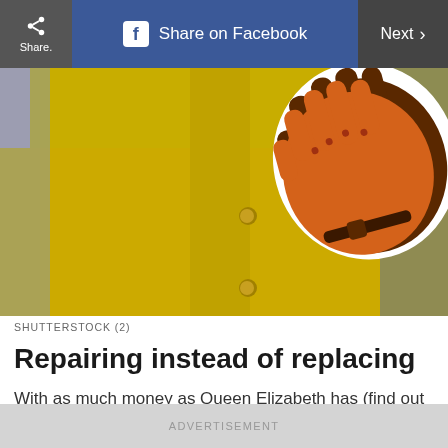Share  Share on Facebook  Next >
[Figure (photo): Person in yellow coat with a brooch, with illustrated driving gloves (orange and brown) overlaid on the right side of the image]
SHUTTERSTOCK (2)
Repairing instead of replacing
With as much money as Queen Elizabeth has (find out how much everyone in the royal family is worth), you’d think a simple pair of worn-out gloves would be tossed in the trash. But Her
ADVERTISEMENT